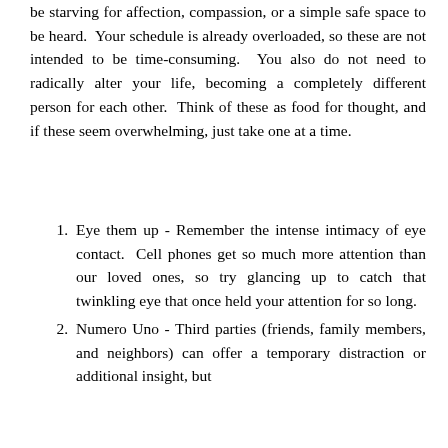be starving for affection, compassion, or a simple safe space to be heard. Your schedule is already overloaded, so these are not intended to be time-consuming. You also do not need to radically alter your life, becoming a completely different person for each other. Think of these as food for thought, and if these seem overwhelming, just take one at a time.
Eye them up - Remember the intense intimacy of eye contact. Cell phones get so much more attention than our loved ones, so try glancing up to catch that twinkling eye that once held your attention for so long.
Numero Uno - Third parties (friends, family members, and neighbors) can offer a temporary distraction or additional insight, but